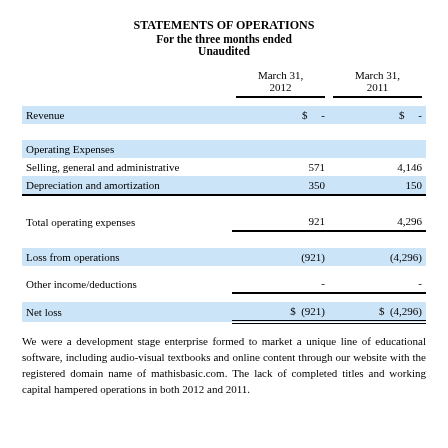STATEMENTS OF OPERATIONS
For the three months ended
Unaudited
|  | March 31, 2012 | March 31, 2011 |
| --- | --- | --- |
| Revenue | $ - | $ - |
| Operating Expenses |  |  |
| Selling, general and administrative | 571 | 4,146 |
| Depreciation and amortization | 350 | 150 |
| Total operating expenses | 921 | 4,296 |
| Loss from operations | (921) | (4,296) |
| Other income/deductions | - | - |
| Net loss | $ (921) | $ (4,296) |
We were a development stage enterprise formed to market a unique line of educational software, including audio-visual textbooks and online content through our website with the registered domain name of mathisbasic.com. The lack of completed titles and working capital hampered operations in both 2012 and 2011.